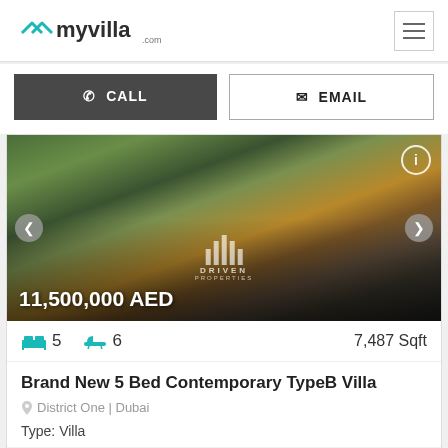myvilla.com
☎ CALL   ✉ EMAIL
[Figure (photo): Luxury villa property photo showing outdoor pool area and modern glass facade with warm interior lighting, Driven Properties watermark, price 11,500,000 AED overlay]
5  6  7,487 Sqft
Brand New 5 Bed Contemporary TypeB Villa
District One | Dubai
Type: Villa